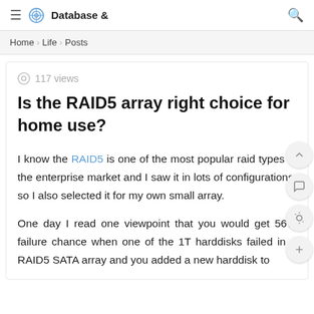Database &
Home > Life > Posts
117 views
Is the RAID5 array right choice for home use?
I know the RAID5 is one of the most popular raid types in the enterprise market and I saw it in lots of configurations, so I also selected it for my own small array.
One day I read one viewpoint that you would get 56% failure chance when one of the 1T harddisks failed in a RAID5 SATA array and you added a new harddisk to